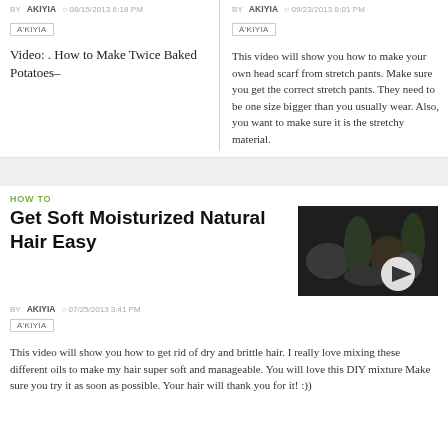BY AKIYIA  08/15/2013 6:18 PM
AKIYIA
Video: . How to Make Twice Baked Potatoes–
BY AKIYIA  09/23/2013 8:01 PM
AKIYIA
This video will show you how to make your own head scarf from stretch pants. Make sure you get the correct stretch pants. They need to be one size bigger than you usually wear. Also, you want to make sure it is the stretchy material.
HOW TO
Get Soft Moisturized Natural Hair Easy
[Figure (photo): Dark thumbnail image of hair care products/oils on a table with a play button overlay]
BY AKIYIA  07/25/2013 3:41 PM
AKIYIA
This video will show you how to get rid of dry and brittle hair. I really love mixing these different oils to make my hair super soft and manageable. You will love this DIY mixture Make sure you try it as soon as possible. Your hair will thank you for it! :))